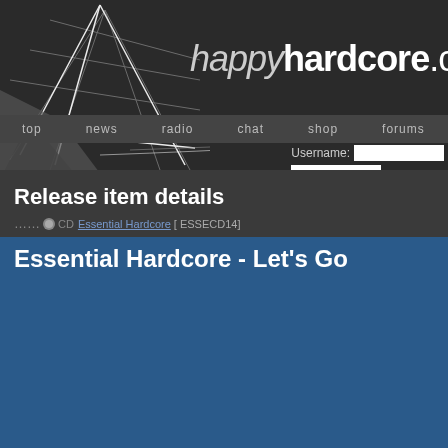happyhardcore.com
top | news | radio | chat | shop | forums
Release item details
CD Essential Hardcore [ ESSECD14]
Essential Hardcore - Let's Go
Label logo
Release item artwork
[Figure (photo): No Photo placeholder image with corner brackets]
[Figure (photo): Essential Hardcore concert crowd artwork with orange/red lighting and text ESSENTIAL HARDCORE]